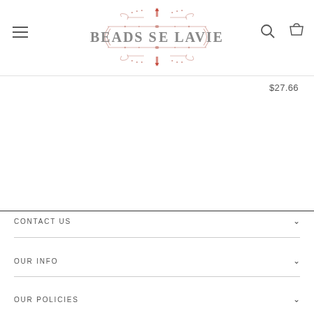[Figure (logo): Beads Se Lavie decorative logo with ornamental scrollwork in pink/red tones and gray serif lettering]
$27.66
CONTACT US
OUR INFO
OUR POLICIES